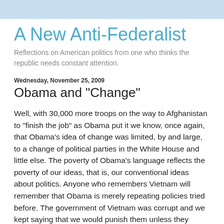A New Anti-Federalist
Reflections on American politics from one who thinks the republic needs constant attention.
Wednesday, November 25, 2009
Obama and "Change"
Well, with 30,000 more troops on the way to Afghanistan to "finish the job" as Obama put it we know, once again, that Obama's idea of change was limited, by and large, to a change of political parties in the White House and little else. The poverty of Obama's language reflects the poverty of our ideas, that is, our conventional ideas about politics. Anyone who remembers Vietnam will remember that Obama is merely repeating policies tried before. The government of Vietnam was corrupt and we kept saying that we would punish them unless they changed their ways but they did not and we did not. And we did not because we could not.